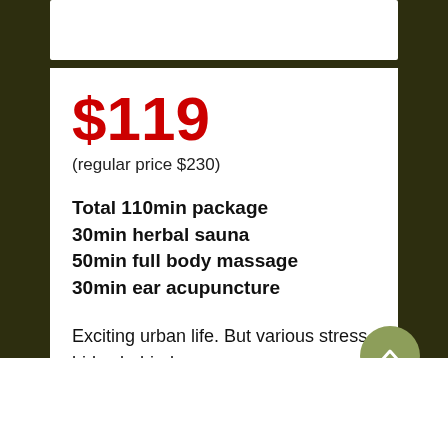$119
(regular price $230)
Total 110min package
30min herbal sauna
50min full body massage
30min ear acupuncture
Exciting urban life. But various stress hides behind.
As for the measures of the stress, massage is the first choice.